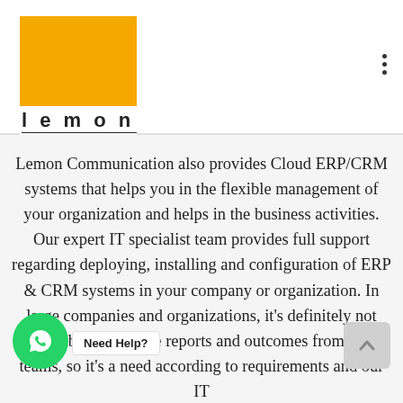[Figure (logo): Lemon Communications logo: orange square above text 'lemon COMMUNICATIONS']
Lemon Communication also provides Cloud ERP/CRM systems that helps you in the flexible management of your organization and helps in the business activities. Our expert IT specialist team provides full support regarding deploying, installing and configuration of ERP & CRM systems in your company or organization. In large companies and organizations, it's definitely not possible to manage reports and outcomes from the teams, so it's a need according to requirements and our IT